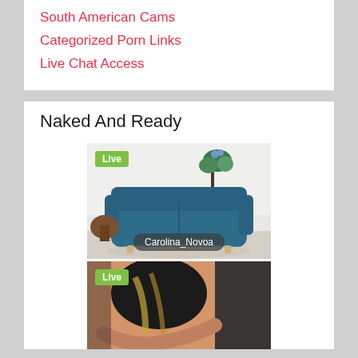South American Cams
Categorized Porn Links
Live Chat Access
Naked And Ready
[Figure (photo): Live webcam thumbnail showing a teal sofa in a room with a plant, username label 'Carolina_Novoa', green Live badge]
[Figure (photo): Live webcam thumbnail showing a person with dark hair, green Live badge]